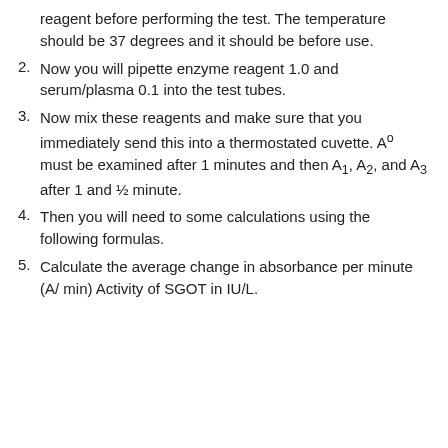reagent before performing the test. The temperature should be 37 degrees and it should be before use.
2. Now you will pipette enzyme reagent 1.0 and serum/plasma 0.1 into the test tubes.
3. Now mix these reagents and make sure that you immediately send this into a thermostated cuvette. A° must be examined after 1 minutes and then A₁, A₂, and A₃ after 1 and ½ minute.
4. Then you will need to some calculations using the following formulas.
5. Calculate the average change in absorbance per minute (A/ min) Activity of SGOT in IU/L.